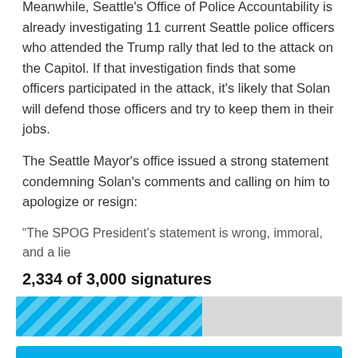Meanwhile, Seattle's Office of Police Accountability is already investigating 11 current Seattle police officers who attended the Trump rally that led to the attack on the Capitol. If that investigation finds that some officers participated in the attack, it's likely that Solan will defend those officers and try to keep them in their jobs.
The Seattle Mayor's office issued a strong statement condemning Solan's comments and calling on him to apologize or resign:
“The SPOG President’s statement is wrong, immoral, and a lie
2,334 of 3,000 signatures
[Figure (infographic): Progress bar showing 2,334 of 3,000 signatures collected, approximately 57% filled with a blue striped bar on a grey background]
SIGN